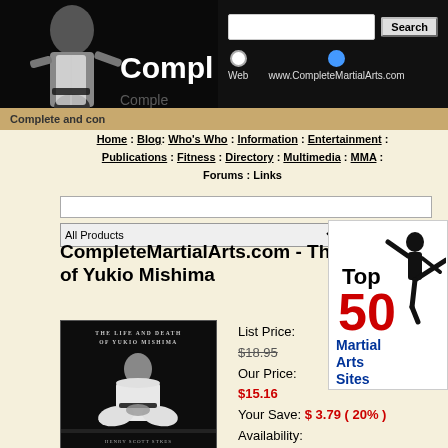[Figure (screenshot): CompleteMartialArts.com website header with martial artist photo, site logo text 'Compl...', search box, and radio buttons for Web / www.CompleteMartialArts.com search options]
Complete and con
Home : Blog : Who's Who : Information : Entertainment : Publications : Fitness : Directory : Multimedia : MMA : Forums : Links
All Products  Search
CompleteMartialArts.com - The Life and Death of Yukio Mishima
[Figure (photo): Book cover: The Life and Death of Yukio Mishima by Henry Scott Stokes, dark cover with person in white martial arts gi sitting in seiza]
List Price: $18.95
Our Price: $15.16
Your Save: $ 3.79 ( 20% )
Availability: Usually ships in 24 hours
Manufacturer: Cooper Square
[Figure (illustration): Top 50 Martial Arts Sites badge showing a kicking martial artist silhouette with red '50' and blue 'Martial Arts Sites' text]